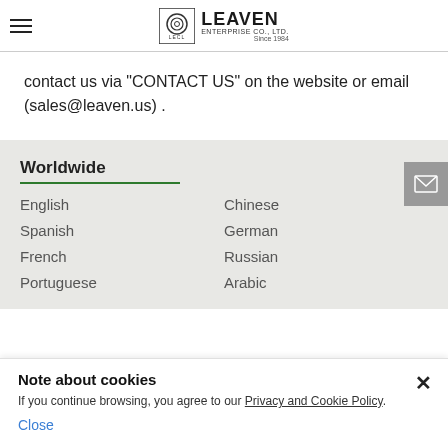[Figure (logo): Leaven Enterprise Co., Ltd. logo with LECL emblem and 'Since 1984' tagline]
contact us via "CONTACT US" on the website or email (sales@leaven.us) .
Worldwide
English
Chinese
Spanish
German
French
Russian
Portuguese
Arabic
Note about cookies
If you continue browsing, you agree to our Privacy and Cookie Policy.
Close